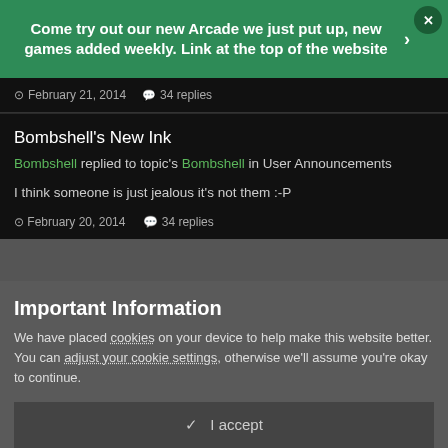Come try out our new Arcade we just put up, new games added weekly. Link at the top of the website
February 21, 2014  34 replies
Bombshell's New Ink
Bombshell replied to topic's Bombshell in User Announcements
I think someone is just jealous it's not them :-P
February 20, 2014  34 replies
Important Information
We have placed cookies on your device to help make this website better. You can adjust your cookie settings, otherwise we'll assume you're okay to continue.
✓  I accept